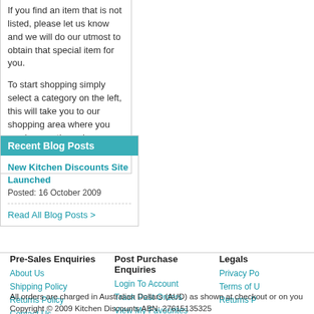If you find an item that is not listed, please let us know and we will do our utmost to obtain that special item for you.

To start shopping simply select a category on the left, this will take you to our shopping area where you can browse through our unique products.
Recent Blog Posts
New Kitchen Discounts Site Launched
Posted: 16 October 2009
Read All Blog Posts >
Pre-Sales Enquiries
About Us
Shipping Policy
Returns Policy
Contact Us
Post Purchase Enquiries
Login To Account
Track Past Orders
View My Favourites
Return An Item
Legals
Privacy Po...
Terms of U...
Returns P...
All orders are charged in Australian Dollars (AUD) as shown at checkout or on your...
Copyright © 2009 Kitchen Discounts ABN: 27615135325